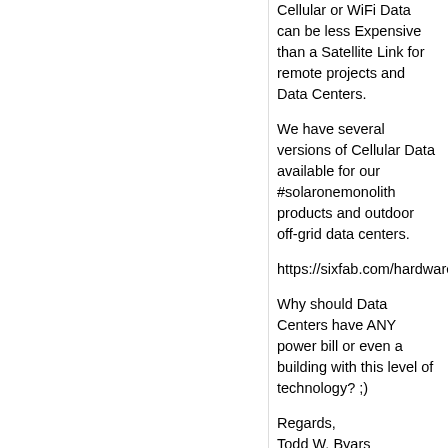Cellular or WiFi Data can be less Expensive than a Satellite Link for remote projects and Data Centers.
We have several versions of Cellular Data available for our #solaronemonolith products and outdoor off-grid data centers.
https://sixfab.com/hardware/
Why should Data Centers have ANY power bill or even a building with this level of technology? ;)
Regards,
Todd W. Byars
CorpRattX
6 months ago
ALERT: Facebook and groups supporting Facebook and Meta are Phishing all the other Social Networks currently - including LinkedIn, for new members or for people to rejoin Facebook.
It has happened to me quite a